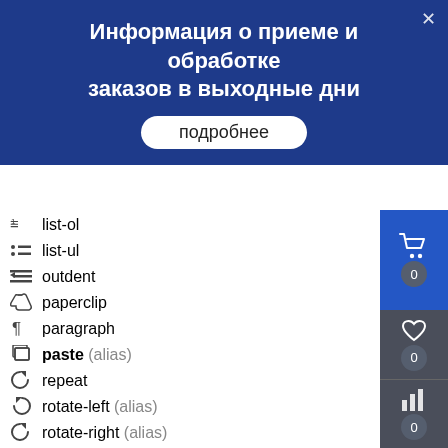Информация о приеме и обработке заказов в выходные дни
подробнее
list-ol
list-ul
outdent
paperclip
paragraph
paste (alias)
repeat
rotate-left (alias)
rotate-right (alias)
save (alias)
scissors
strikethrough
x₂ subscript
x² superscript
table